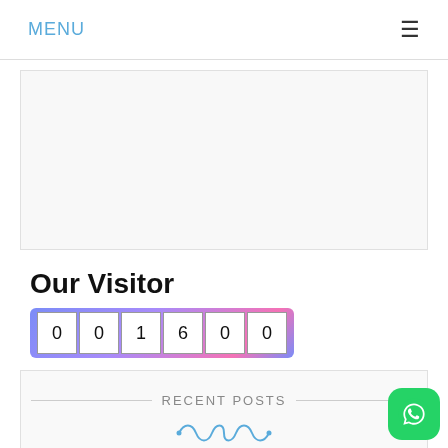MENU
[Figure (other): Advertisement/content placeholder box]
Our Visitor
[Figure (other): Visitor counter showing digits: 0 0 1 6 0 0]
Powered By WPS Visitor Counter
RECENT POSTS
[Figure (illustration): Decorative blue ornamental divider]
[Figure (logo): WhatsApp green icon button]